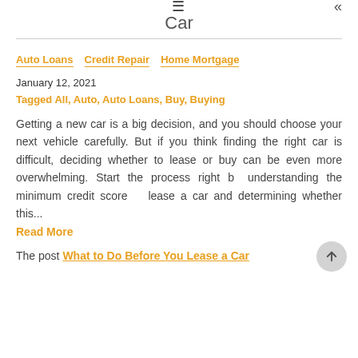≡  «
Car
Auto Loans  Credit Repair  Home Mortgage
January 12, 2021
Tagged All, Auto, Auto Loans, Buy, Buying
Getting a new car is a big decision, and you should choose your next vehicle carefully. But if you think finding the right car is difficult, deciding whether to lease or buy can be even more overwhelming. Start the process right by understanding the minimum credit score to lease a car and determining whether this...
Read More
The post What to Do Before You Lease a Car